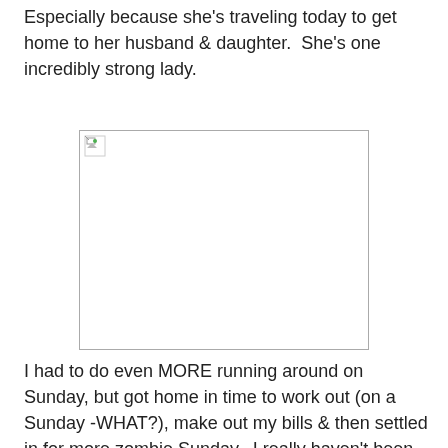Especially because she's traveling today to get home to her husband & daughter.  She's one incredibly strong lady.
[Figure (photo): A broken/missing image placeholder shown as an empty white box with a small broken image icon in the top-left corner.]
I had to do even MORE running around on Sunday, but got home in time to work out (on a Sunday -WHAT?), make out my bills & then settled in for more zombie Sunday.  I really haven't been into Fearing the Walking Dead until last week